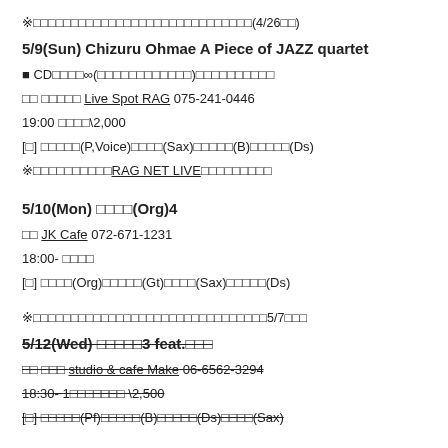※□□□□□□□□□□□□□□□□□□□□□□□□□□□□□(4/26□□)
5/9(Sun) Chizuru Ohmae A Piece of JAZZ quartet
■ CD□□□□∞(□□□□□□□□□□□□)□□□□□□□□□□
□□ □□□□□ Live Spot RAG 075-241-0446
19:00 □□□□\2,000
[□] □□□□□(P,Voice)□□□□(Sax)□□□□□(B)□□□□□(Ds)
※□□□□□□□□□□RAG NET LIVE□□□□□□□□□
5/10(Mon) □□□□(Org)4
□□ JK Cafe 072-671-1231
18:00- □□□□
[□] □□□□(Org)□□□□□(Gt)□□□□(Sax)□□□□□(Ds)
※□□□□□□□□□□□□□□□□□□□□□□□□□□□□□□□5/7□□□
5/12(Wed) □□□□□3 feat.□□□
□□ □□□ studio & cafe Make 06-6562-3294
18:30- 1□□□□□□□ \2,500
[□] □□□□□(Pf)□□□□□(B)□□□□□(Ds)□□□□(Sax)